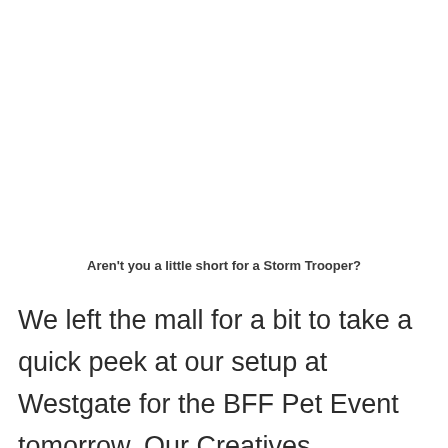Aren't you a little short for a Storm Trooper?
We left the mall for a bit to take a quick peek at our setup at Westgate for the BFF Pet Event tomorrow. Our Creatives Department really did a great job on our Halloween centerpiece, a magical castle with a life-sized wizard. Will be posting photos of our BFF and Halloween setup after tomorrow's event.